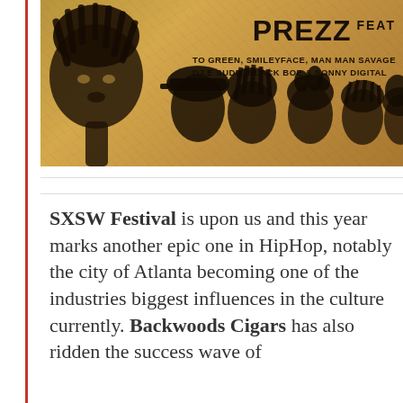[Figure (illustration): Album/event promotional image on aged crumpled paper background showing large illustrated face on left and group of smaller illustrated faces on right. Text reads PREZZ FEAT TO GREEN, SMILEYFACE, MAN MAN SAVAGE, DJ E SUDD, BLACK BOE & SONNY DIGITAL]
SXSW Festival is upon us and this year marks another epic one in HipHop, notably the city of Atlanta becoming one of the industries biggest influences in the culture currently. Backwoods Cigars has also ridden the success wave of